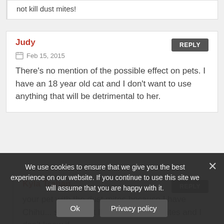not kill dust mites!
Judy
Feb 15, 2015
There's no mention of the possible effect on pets. I have an 18 year old cat and I don't want to use anything that will be detrimental to her.
Kyla Trahan
We use cookies to ensure that we give you the best experience on our website. If you continue to use this site we will assume that you are happy with it.